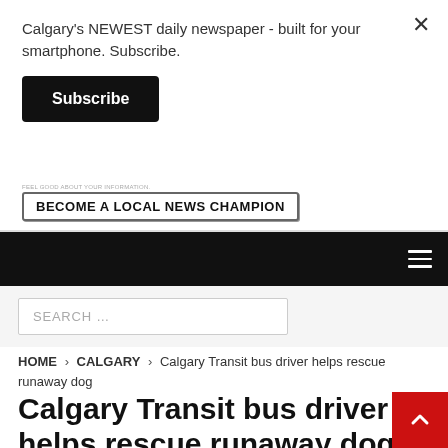Calgary's NEWEST daily newspaper - built for your smartphone. Subscribe.
Subscribe
[Figure (screenshot): Banner advertisement with text 'FEEL GOOD ABOUT YOUR INFORMATION.' and a button 'BECOME A LOCAL NEWS CHAMPION']
Navigation bar with hamburger menu
SEARCH ...
HOME > CALGARY > Calgary Transit bus driver helps rescue runaway dog
Calgary Transit bus driver helps rescue runaway dog